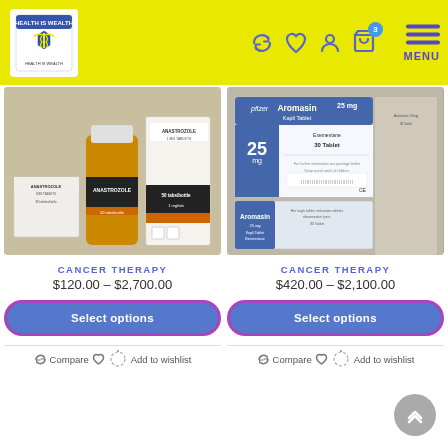Health & Wealth - Navigation header with logo, icons, and menu
[Figure (photo): Product image of Anastrozole 1mg tablets bottle with box packaging]
CANCER THERAPY
$120.00 – $2,700.00
Select options
Compare   Add to wishlist
[Figure (photo): Product image of Aromasin 25mg Kapli Tablet (Exemestane) box packaging]
CANCER THERAPY
$420.00 – $2,100.00
Select options
Compare   Add to wishlist